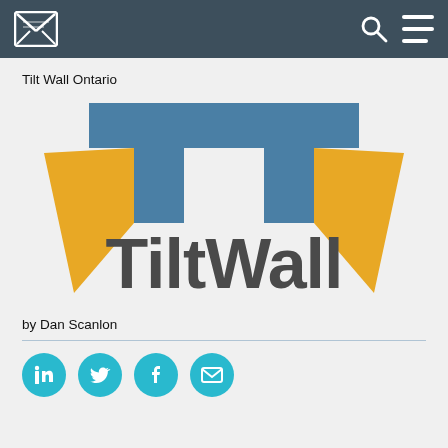Navigation bar with envelope icon, search icon, and hamburger menu
Tilt Wall Ontario
[Figure (logo): TiltWall logo: two blue stylized T/arrow shapes with gold/orange wing shapes below, forming a mirrored pair, with bold dark grey 'TiltWall' wordmark below the graphic]
by Dan Scanlon
[Figure (other): Four circular social media icons in teal/cyan: LinkedIn, Twitter, Facebook, Email]